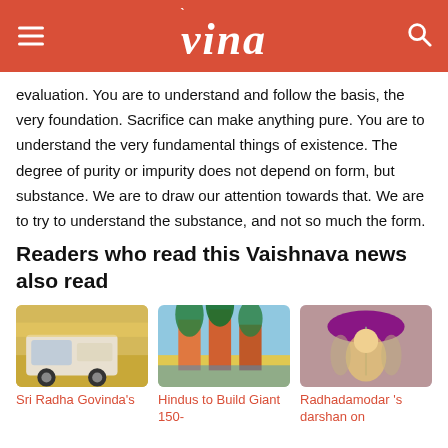vina
evaluation. You are to understand and follow the basis, the very foundation. Sacrifice can make anything pure. You are to understand the very fundamental things of existence. The degree of purity or impurity does not depend on form, but substance. We are to draw our attention towards that. We are to try to understand the substance, and not so much the form.
Readers who read this Vaishnava news also read
[Figure (photo): A person riding a golf cart on a street]
[Figure (photo): A colorful painting of tall buildings with green trees and light blue sky]
[Figure (photo): A deity figure of Radhadamodar decorated with flowers and umbrella]
Sri Radha Govinda's
Hindus to Build Giant 150-
Radhadamodar 's darshan on